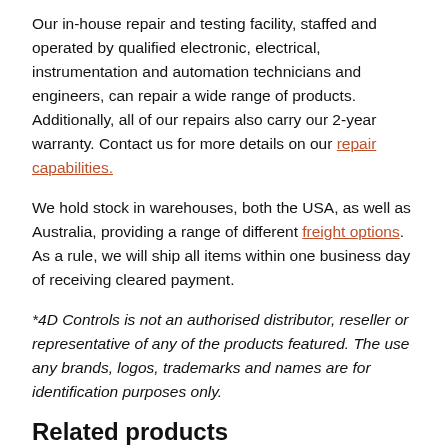Our in-house repair and testing facility, staffed and operated by qualified electronic, electrical, instrumentation and automation technicians and engineers, can repair a wide range of products. Additionally, all of our repairs also carry our 2-year warranty. Contact us for more details on our repair capabilities.
We hold stock in warehouses, both the USA, as well as Australia, providing a range of different freight options. As a rule, we will ship all items within one business day of receiving cleared payment.
*4D Controls is not an authorised distributor, reseller or representative of any of the products featured. The use any brands, logos, trademarks and names are for identification purposes only.
Related products